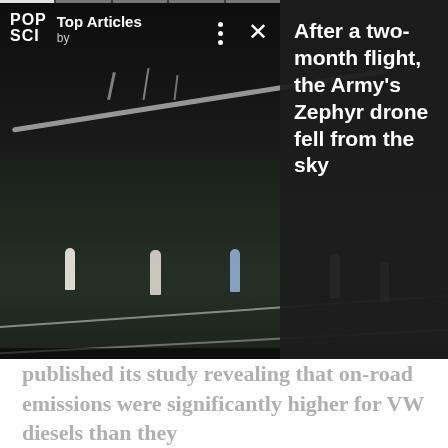[Figure (screenshot): Video player showing a nighttime outdoor sports court scene with people visible, overlaid with POP SCI Top Articles branding, playback controls (pause, mute), next arrow button, progress bar segments at top, and a dark right panel.]
After a two-month flight, the Army's Zephyr drone fell from the sky
On this side of the Atlantic, VW of America CEO, Michael Horn went before Congress yesterday for the first of what will undoubtedly be many confrontations. Speaking before the House Energy and Commerce Committee, Horn gave a timeline of events, including an admission that VW's chiefs knew of the emissions noncompliance concerns at least as far back as the spring of 2014, when West Virginia University
published its study revealing that on-road emissions were significantly higher for VW diesels than they